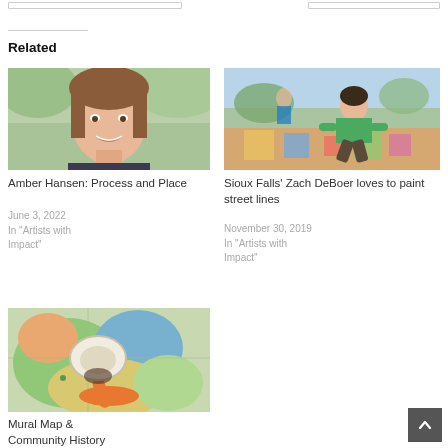Related
[Figure (photo): Headshot of Amber Hansen, a woman with shoulder-length brown hair smiling outdoors]
Amber Hansen: Process and Place
June 3, 2022
In "Artists with Impact"
[Figure (photo): Zach DeBoer crouching on a colorful painted street/pavement in Sioux Falls, wearing a green t-shirt]
Sioux Falls' Zach DeBoer loves to paint street lines
November 30, 2019
In "Artists with Impact"
[Figure (photo): Person wearing a white hat working on a colorful mural map, viewed from above]
Mural Map & Community History Toolkit